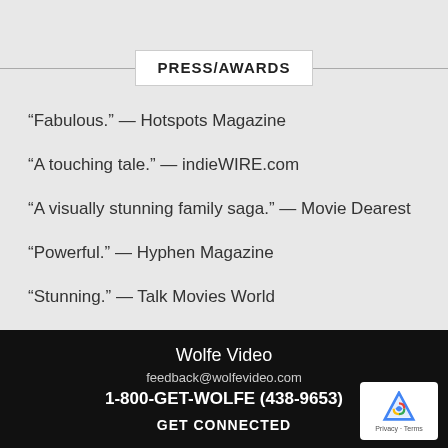PRESS/AWARDS
“Fabulous.” — Hotspots Magazine
“A touching tale.” — indieWIRE.com
“A visually stunning family saga.” — Movie Dearest
“Powerful.” — Hyphen Magazine
“Stunning.” — Talk Movies World
Wolfe Video
feedback@wolfevideo.com
1-800-GET-WOLFE (438-9653)
GET CONNECTED